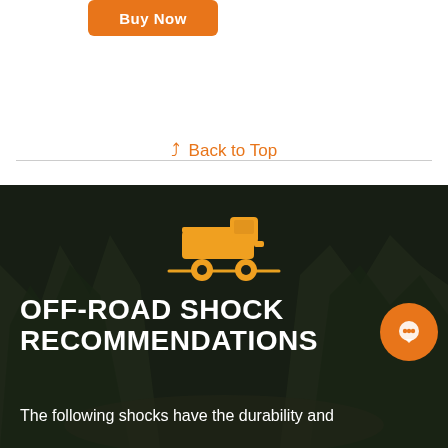[Figure (other): Orange 'Buy Now' button at top left]
⌃ Back to Top
[Figure (infographic): Dark forest background with orange pickup truck icon, heading 'OFF-ROAD SHOCK RECOMMENDATIONS', orange chat bubble icon, and subtitle text 'The following shocks have the durability and']